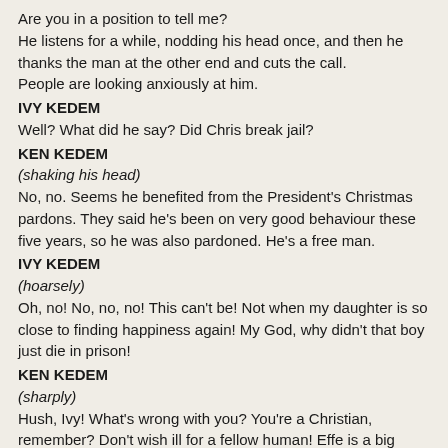Are you in a position to tell me?
He listens for a while, nodding his head once, and then he thanks the man at the other end and cuts the call.
People are looking anxiously at him.
IVY KEDEM
Well? What did he say? Did Chris break jail?
KEN KEDEM
(shaking his head)
No, no. Seems he benefited from the President's Christmas pardons. They said he's been on very good behaviour these five years, so he was also pardoned. He's a free man.
IVY KEDEM
(hoarsely)
Oh, no! No, no, no! This can't be! Not when my daughter is so close to finding happiness again! My God, why didn't that boy just die in prison!
KEN KEDEM
(sharply)
Hush, Ivy! What's wrong with you? You're a Christian, remember? Don't wish ill for a fellow human! Effe is a big